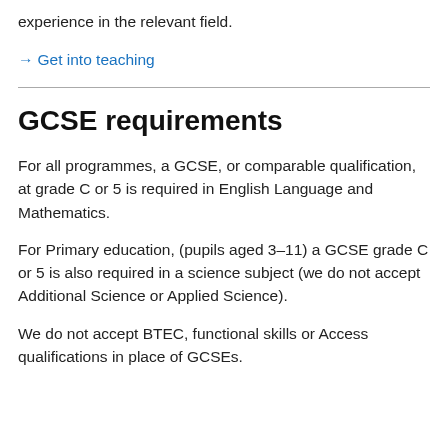experience in the relevant field.
→ Get into teaching
GCSE requirements
For all programmes, a GCSE, or comparable qualification, at grade C or 5 is required in English Language and Mathematics.
For Primary education, (pupils aged 3–11) a GCSE grade C or 5 is also required in a science subject (we do not accept Additional Science or Applied Science).
We do not accept BTEC, functional skills or Access qualifications in place of GCSEs.